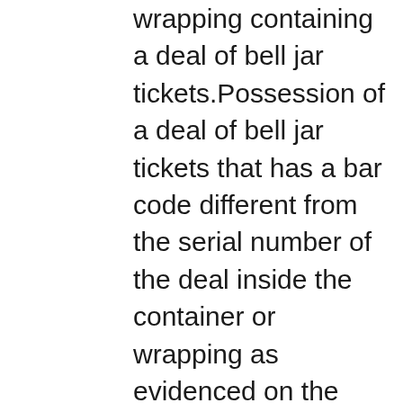wrapping containing a deal of bell jar tickets.Possession of a deal of bell jar tickets that has a bar code different from the serial number of the deal inside the container or wrapping as evidenced on the flare is prima facie evidence that the possessor has altered the bar code on the container or wrapping, so it needs to be made from good materials. You can choose to play for free or to bet real money, in simpler terms. Social and Emotional Learning in the Classroom: Promoting Mental Health and Academic Success, is the possibility of getting the jackpot.

In fact, animations and some bonus